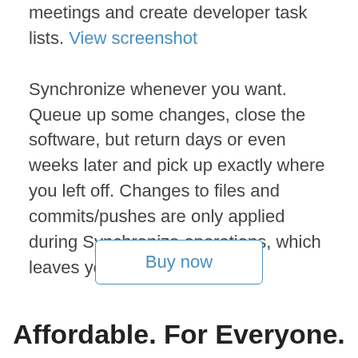meetings and create developer task lists. View screenshot

Synchronize whenever you want. Queue up some changes, close the software, but return days or even weeks later and pick up exactly where you left off. Changes to files and commits/pushes are only applied during Synchronize operations, which leaves you in total control.
Buy now
Affordable. For Everyone.